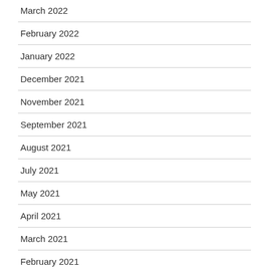March 2022
February 2022
January 2022
December 2021
November 2021
September 2021
August 2021
July 2021
May 2021
April 2021
March 2021
February 2021